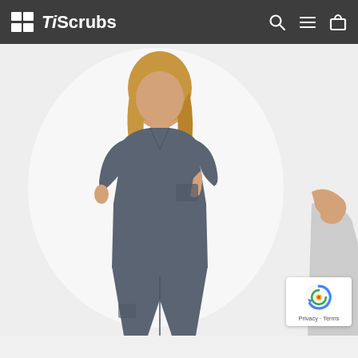TiScrubs
[Figure (photo): A woman wearing a dark charcoal/slate grey scrub set (v-neck top and pants) posing with one hand in her pocket, smiling. A second figure is partially visible on the right edge. White/light grey background product photo.]